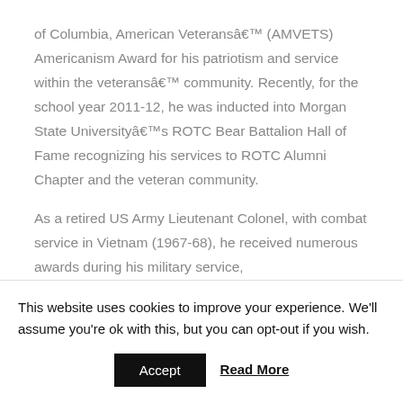of Columbia, American Veterans' (AMVETS) Americanism Award for his patriotism and service within the veterans' community. Recently, for the school year 2011-12, he was inducted into Morgan State University's ROTC Bear Battalion Hall of Fame recognizing his services to ROTC Alumni Chapter and the veteran community.
As a retired US Army Lieutenant Colonel, with combat service in Vietnam (1967-68), he received numerous awards during his military service,
This website uses cookies to improve your experience. We'll assume you're ok with this, but you can opt-out if you wish.